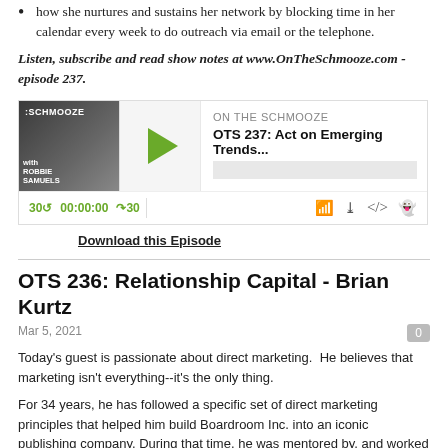how she nurtures and sustains her network by blocking time in her calendar every week to do outreach via email or the telephone.
Listen, subscribe and read show notes at www.OnTheSchmooze.com - episode 237.
[Figure (screenshot): Podcast player widget for 'On The Schmooze' showing episode OTS 237: Act on Emerging Trends... with play button, progress bar, time controls showing 30 back, 00:00:00, 30 forward, and icons for share, download, embed, and settings.]
Download this Episode
OTS 236: Relationship Capital - Brian Kurtz
Mar 5, 2021
Today's guest is passionate about direct marketing.  He believes that marketing isn't everything--it's the only thing.
For 34 years, he has followed a specific set of direct marketing principles that helped him build Boardroom Inc. into an iconic publishing company. During that time, he was mentored by, and worked with, a who's who of marketing legends and he worked side-by-side with the most prolific copywriters who